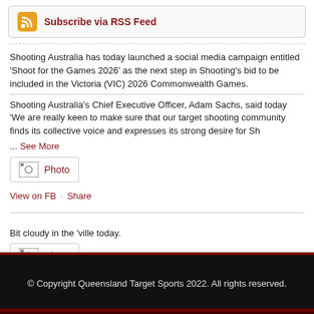Subscribe via RSS Feed
Shooting Australia has today launched a social media campaign entitled ‘Shoot for the Games 2026’ as the next step in Shooting’s bid to be included in the Victoria (VIC) 2026 Commonwealth Games.
Shooting Australia’s Chief Executive Officer, Adam Sachs, said today ‘We are really keen to make sure that our target shooting community finds its collective voice and expresses its strong desire for Sh
... See More
[Figure (other): Photo icon button]
View on FB · Share
Bit cloudy in the ‘ville today.
[Figure (other): Photo icon button]
View on FB · Share
© Copyright Queensland Target Sports 2022. All rights reserved.